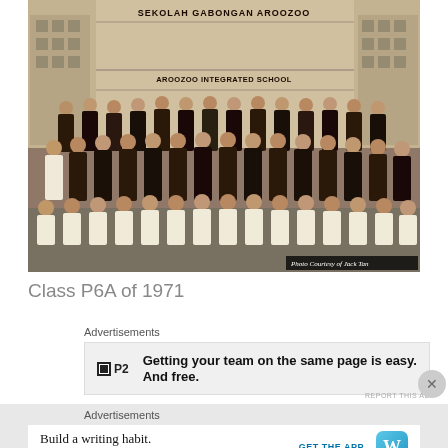[Figure (photo): Sepia-toned black and white school class photo taken in front of Sekolah Gabongan Aroozoo / Aroozoo Integrated School building. Students arranged in three rows: back row standing girls in school uniforms, middle row standing students, front row boys squatting/kneeling. Photo credit: Photo Courtesy of Jack Tan.]
Class P6A of 1971
Advertisements
Getting your team on the same page is easy. And free.
Advertisements
Build a writing habit. Post on the go.